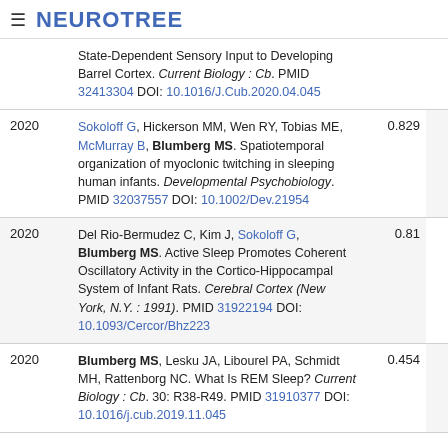≡ NEUROTREE
| Year | Reference | Score |
| --- | --- | --- |
|  | State-Dependent Sensory Input to Developing Barrel Cortex. Current Biology : Cb. PMID 32413304 DOI: 10.1016/J.Cub.2020.04.045 |  |
| 2020 | Sokoloff G, Hickerson MM, Wen RY, Tobias ME, McMurray B, Blumberg MS. Spatiotemporal organization of myoclonic twitching in sleeping human infants. Developmental Psychobiology. PMID 32037557 DOI: 10.1002/Dev.21954 | 0.829 |
| 2020 | Del Rio-Bermudez C, Kim J, Sokoloff G, Blumberg MS. Active Sleep Promotes Coherent Oscillatory Activity in the Cortico-Hippocampal System of Infant Rats. Cerebral Cortex (New York, N.Y. : 1991). PMID 31922194 DOI: 10.1093/Cercor/Bhz223 | 0.81 |
| 2020 | Blumberg MS, Lesku JA, Libourel PA, Schmidt MH, Rattenborg NC. What Is REM Sleep? Current Biology : Cb. 30: R38-R49. PMID 31910377 DOI: 10.1016/j.cub.2019.11.045 | 0.454 |